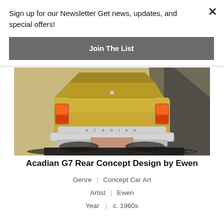Sign up for our Newsletter Get news, updates, and special offers!
Join The List
[Figure (illustration): Rear view concept art of an Acadian G7 car in gold/yellow, showing tail lights, chrome bumper, and ACADIAN lettering across the rear panel. Background is dark/shadowed on the right side. Art style is a colored concept sketch/rendering from the 1960s.]
Acadian G7 Rear Concept Design by Ewen
Genre  |  Concept Car Art
Artist  |  Ewen
Year  |  c. 1960s